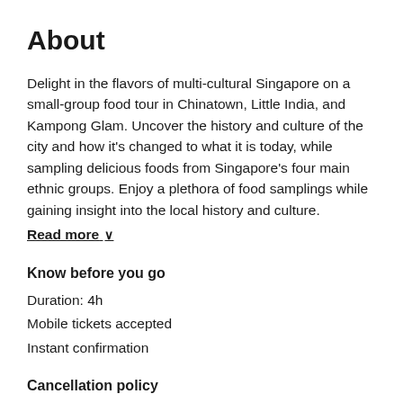About
Delight in the flavors of multi-cultural Singapore on a small-group food tour in Chinatown, Little India, and Kampong Glam. Uncover the history and culture of the city and how it's changed to what it is today, while sampling delicious foods from Singapore's four main ethnic groups. Enjoy a plethora of food samplings while gaining insight into the local history and culture. Read more ∨
Know before you go
Duration: 4h
Mobile tickets accepted
Instant confirmation
Cancellation policy
For a full refund, cancel at least 24 hours in advance of the start date of the experience.